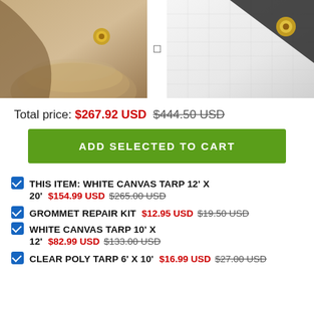[Figure (photo): Two product photos side by side: left shows a rolled tan/beige canvas tarp with a brass grommet, right shows a white canvas tarp corner with a dark leather reinforced brass grommet]
Total price: $267.92 USD $444.50 USD
ADD SELECTED TO CART
THIS ITEM: WHITE CANVAS TARP 12' X 20' $154.99 USD $265.00 USD
GROMMET REPAIR KIT $12.95 USD $19.50 USD
WHITE CANVAS TARP 10' X 12' $82.99 USD $133.00 USD
CLEAR POLY TARP 6' X 10' $16.99 USD $27.00 USD